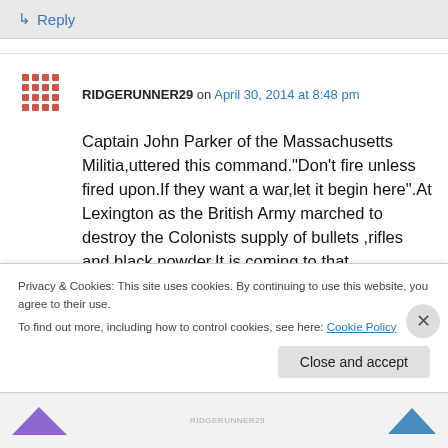↳ Reply
RIDGERUNNER29 on April 30, 2014 at 8:48 pm
Captain John Parker of the Massachusetts Militia,uttered this command."Don't fire unless fired upon.If they want a war,let it begin here".At Lexington as the British Army marched to destroy the Colonists supply of bullets ,rifles and black powder.It is coming to that folks,sadly,I might add.
Privacy & Cookies: This site uses cookies. By continuing to use this website, you agree to their use.
To find out more, including how to control cookies, see here: Cookie Policy